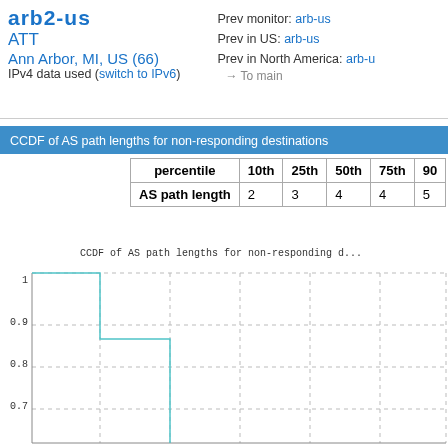ATT
Ann Arbor, MI, US (66)
IPv4 data used (switch to IPv6)
Prev monitor: arb-us
Prev in US: arb-us
Prev in North America: arb-u
→ To main
CCDF of AS path lengths for non-responding destinations
| percentile | 10th | 25th | 50th | 75th | 90... |
| --- | --- | --- | --- | --- | --- |
| AS path length | 2 | 3 | 4 | 4 | 5 |
CCDF of AS path lengths for non-responding d...
[Figure (continuous-plot): CCDF step plot of AS path lengths for non-responding destinations. Y-axis shows probability from ~0.6 to 1.0. Step function drops from 1 at AS path length 2, steps down to ~0.845 at length 3, then to ~0.7 and continues down.]